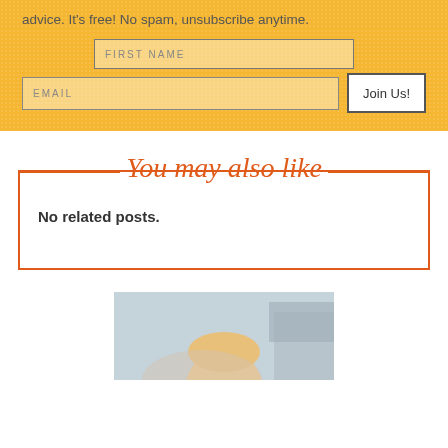advice. It's free! No spam, unsubscribe anytime.
[Figure (screenshot): Email signup form with FIRST NAME input, EMAIL input, and Join Us! button on yellow textured background]
You may also like
No related posts.
[Figure (photo): Partial photo of a person with blonde hair against a mountain/sky background]